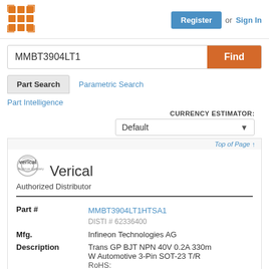[Figure (logo): Orange grid/matrix logo icon]
Register  or  Sign In
MMBT3904LT1
Find
Part Search
Parametric Search
Part Intelligence
CURRENCY ESTIMATOR:
Default
Top of Page ↑
[Figure (logo): Verical / An Arrow Company logo with circular icon]
Verical
Authorized Distributor
| Field | Value |
| --- | --- |
| Part # | MMBT3904LT1HTSA1 |
|  | DISTI # 62336400 |
| Mfg. | Infineon Technologies AG |
| Description | Trans GP BJT NPN 40V 0.2A 330mW Automotive 3-Pin SOT-23 T/R |
|  | RoHS: |
|  | Compliant |